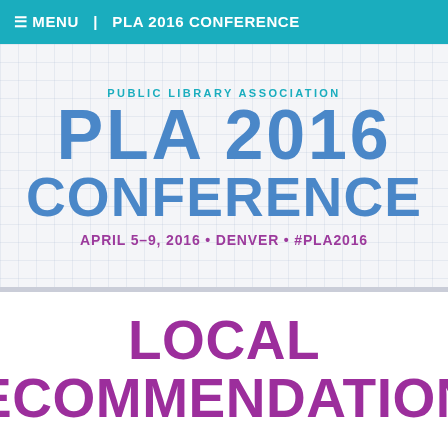☰ MENU  |  PLA 2016 CONFERENCE
[Figure (infographic): PLA 2016 Conference banner with grid background showing 'PUBLIC LIBRARY ASSOCIATION', 'PLA 2016 CONFERENCE', and 'APRIL 5–9, 2016 • DENVER • #PLA2016']
LOCAL RECOMMENDATIONS